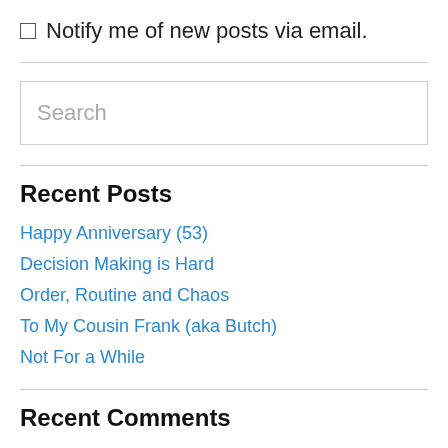Notify me of new posts via email.
Happy Anniversary (53)
Decision Making is Hard
Order, Routine and Chaos
To My Cousin Frank (aka Butch)
Not For a While
Recent Posts
Recent Comments
AdjunctWizard on How Big are You